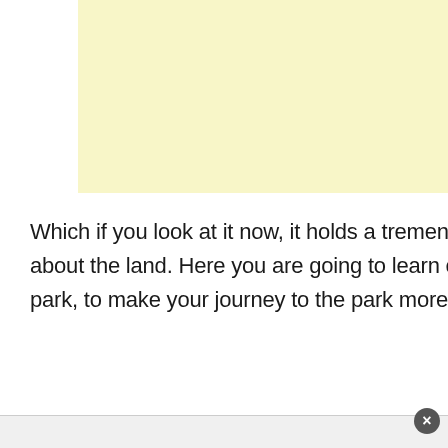[Figure (other): Light yellow advertisement placeholder box at top of page]
Which if you look at it now, it holds a tremendous value and offers people to learn something new about the land. Here you are going to learn everything there is to know about Yellowstone National park, to make your journey to the park more adventurous.
[Figure (other): Light gray advertisement placeholder box at bottom of page with close button]